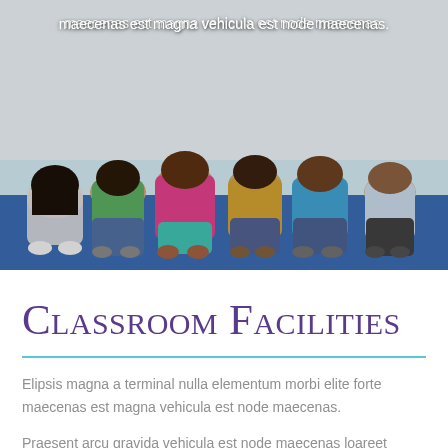[Figure (photo): Children sitting cross-legged on the floor viewed from behind, colorful clothing, classroom or group setting]
maecenas est magna vehicula est node maecenas.
Classroom Facilities
Elipsis magna a terminal nulla elementum morbi elite forte maecenas est magna vehicula est node maecenas.
Praesent arcu gravida vehicula est node maecenas loareet